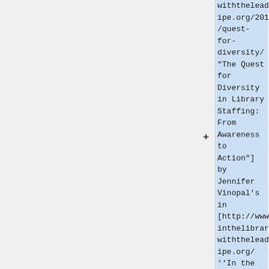withtheleadpipe.org/2016/quest-for-diversity/ "The Quest for Diversity in Library Staffing: From Awareness to Action"] by Jennifer Vinopal's in [http://www.inthelibrary withtheleadpipe.org/ ''In the Library w the Lead